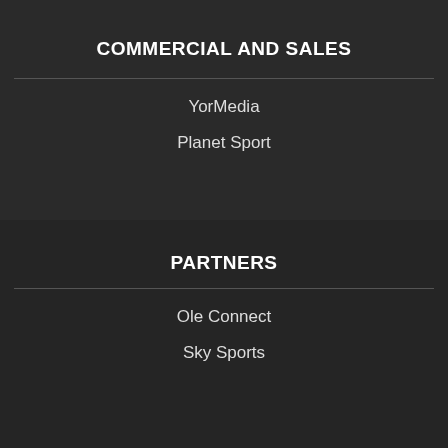COMMERCIAL AND SALES
YorMedia
Planet Sport
PARTNERS
Ole Connect
Sky Sports